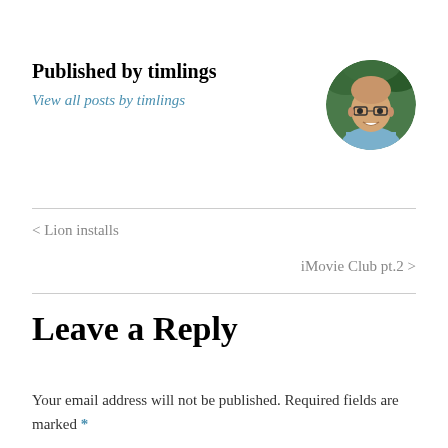Published by timlings
View all posts by timlings
[Figure (photo): Circular profile photo of a bald man with glasses, smiling, against a green background]
< Lion installs
iMovie Club pt.2 >
Leave a Reply
Your email address will not be published. Required fields are marked *